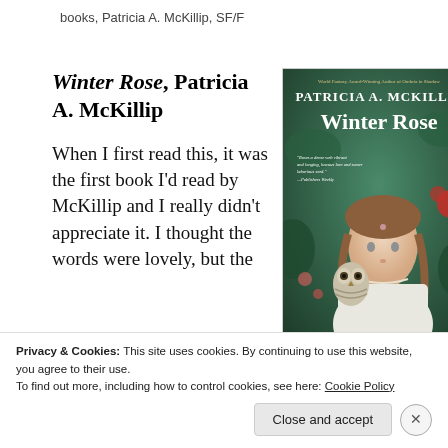books, Patricia A. McKillip, SF/F
Winter Rose, Patricia A. McKillip
[Figure (illustration): Book cover of 'Winter Rose' by Patricia A. McKillip showing a woman with an owl, surrounded by roses and vines on a dark background]
When I first read this, it was the first book I'd read by McKillip and I really didn't appreciate it. I thought the words were lovely, but the
Privacy & Cookies: This site uses cookies. By continuing to use this website, you agree to their use.
To find out more, including how to control cookies, see here: Cookie Policy